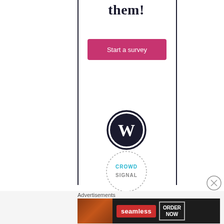them!
Start a survey
[Figure (logo): WordPress logo - circular badge with black border and stylized W letter in center]
[Figure (logo): Crowdsignal logo inside a dotted circle border with teal/gray text reading CROWD SIGNAL]
[Figure (other): Close/dismiss button - circle with X symbol]
Advertisements
[Figure (other): Seamless food delivery advertisement banner with pizza image, Seamless logo, and ORDER NOW button]